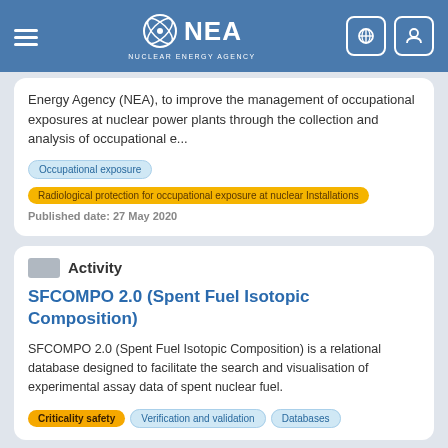[Figure (logo): NEA Nuclear Energy Agency header with hamburger menu, NEA logo with orbital icon, and two icon buttons (globe and user) on blue background]
Energy Agency (NEA), to improve the management of occupational exposures at nuclear power plants through the collection and analysis of occupational e...
Occupational exposure
Radiological protection for occupational exposure at nuclear Installations
Published date: 27 May 2020
Activity
SFCOMPO 2.0 (Spent Fuel Isotopic Composition)
SFCOMPO 2.0 (Spent Fuel Isotopic Composition) is a relational database designed to facilitate the search and visualisation of experimental assay data of spent nuclear fuel.
Criticality safety  Verification and validation  Databases